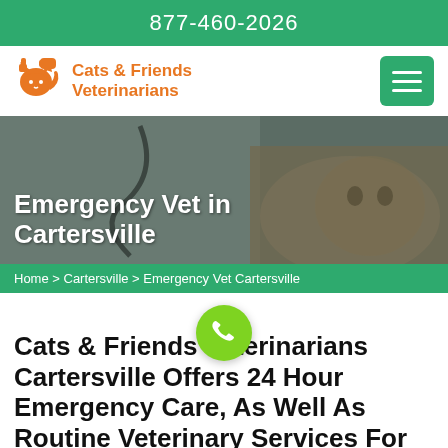877-460-2026
[Figure (logo): Cats & Friends Veterinarians logo with orange cat icon and orange text]
[Figure (photo): Photo of a veterinarian in white coat with stethoscope holding a tabby cat, overlaid with hero title text]
Emergency Vet in Cartersville
Home > Cartersville > Emergency Vet Cartersville
Cats & Friends Veterinarians Cartersville Offers 24 Hour Emergency Care, As Well As Routine Veterinary Services For Your Pets. Our Exclusive